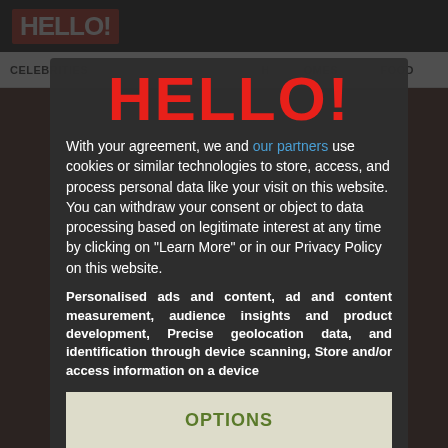[Figure (screenshot): HELLO! magazine website screenshot showing top navigation bar with HELLO! logo, navigation items (CELEBRITIES, HOMES, FOOD), and a partially visible article about beauty, with a cookie consent modal overlay displaying the HELLO! logo in large red text, consent text with a link to 'our partners', purposes text about personalised ads, and OPTIONS and I AGREE buttons.]
With your agreement, we and our partners use cookies or similar technologies to store, access, and process personal data like your visit on this website. You can withdraw your consent or object to data processing based on legitimate interest at any time by clicking on "Learn More" or in our Privacy Policy on this website.
Personalised ads and content, ad and content measurement, audience insights and product development, Precise geolocation data, and identification through device scanning, Store and/or access information on a device
OPTIONS
I AGREE